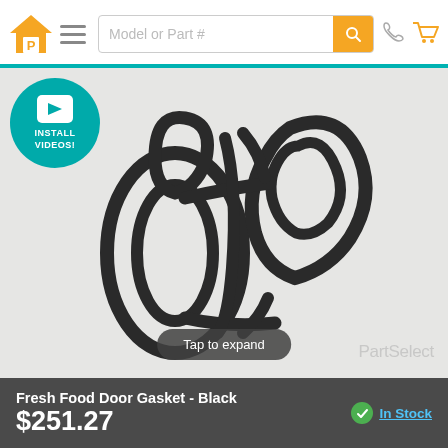Model or Part #
[Figure (photo): Refrigerator fresh food door gasket in black, coiled and folded on a white surface. PartSelect watermark visible in corner.]
Fresh Food Door Gasket - Black
$251.27
In Stock